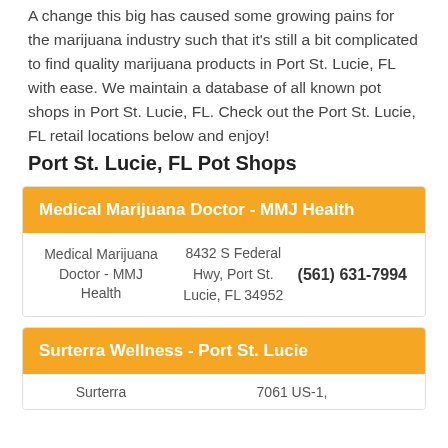A change this big has caused some growing pains for the marijuana industry such that it's still a bit complicated to find quality marijuana products in Port St. Lucie, FL with ease. We maintain a database of all known pot shops in Port St. Lucie, FL. Check out the Port St. Lucie, FL retail locations below and enjoy!
Port St. Lucie, FL Pot Shops
| Name | Address | Phone |
| --- | --- | --- |
| Medical Marijuana Doctor - MMJ Health | 8432 S Federal Hwy, Port St. Lucie, FL 34952 | (561) 631-7994 |
| Name | Address |
| --- | --- |
| Surterra | 7061 US-1, |